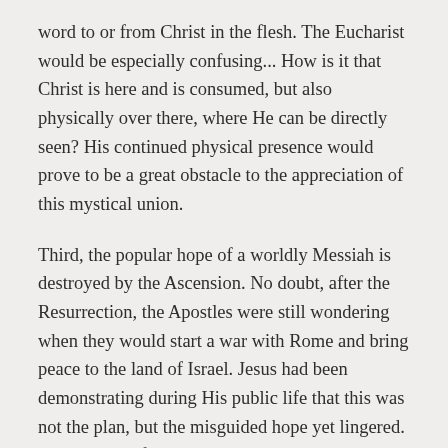word to or from Christ in the flesh. The Eucharist would be especially confusing... How is it that Christ is here and is consumed, but also physically over there, where He can be directly seen? His continued physical presence would prove to be a great obstacle to the appreciation of this mystical union.
Third, the popular hope of a worldly Messiah is destroyed by the Ascension. No doubt, after the Resurrection, the Apostles were still wondering when they would start a war with Rome and bring peace to the land of Israel. Jesus had been demonstrating during His public life that this was not the plan, but the misguided hope yet lingered. For the idea of a worldly Messiah to go away, the Messiah had to go away. Christ shows us Who He is and what He is really about when He goes back to Heaven – the King of the Heavenly Jerusalem.